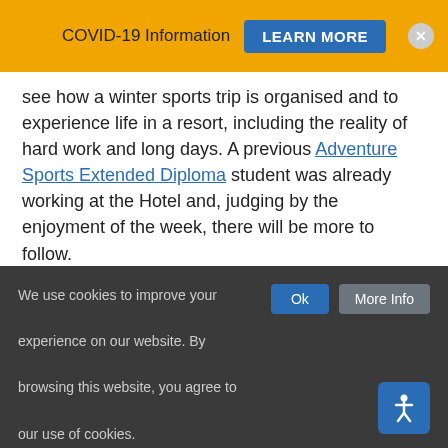COVID-19 Information  LEARN MORE
see how a winter sports trip is organised and to experience life in a resort, including the reality of hard work and long days. A previous Adventure Sports Extended Diploma student was already working at the Hotel and, judging by the enjoyment of the week, there will be more to follow.
Here's a short clip of student Josh Cook on the slopes...
We use cookies to improve your experience on our website. By browsing this website, you agree to our use of cookies.  Ok  More Info